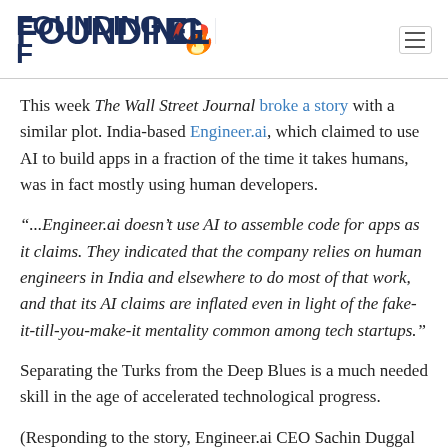FOUNDING FUEL
This week The Wall Street Journal broke a story with a similar plot. India-based Engineer.ai, which claimed to use AI to build apps in a fraction of the time it takes humans, was in fact mostly using human developers.
“...Engineer.ai doesn’t use AI to assemble code for apps as it claims. They indicated that the company relies on human engineers in India and elsewhere to do most of that work, and that its AI claims are inflated even in light of the fake-it-till-you-make-it mentality common among tech startups.”
Separating the Turks from the Deep Blues is a much needed skill in the age of accelerated technological progress.
(Responding to the story, Engineer.ai CEO Sachin Duggal has posted a long response saying, “We’ve never claimed to